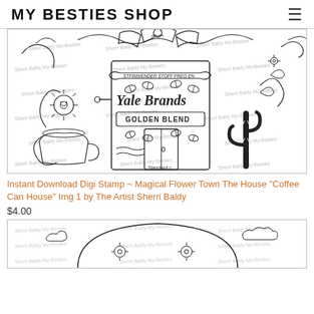MY BESTIES SHOP
[Figure (illustration): Black and white coloring page line art showing a whimsical coffee can house with the text 'Yale Brands Golden Blend' and 'St Fin Wender Stoff Freg En' on a banner, surrounded by flowers, a daisy character, cactus, and vines. Watermark text 'Sherri Baldy My-Besties' repeated across image.]
Instant Download Digi Stamp ~ Magical Flower Town The House "Coffee Can House" Img 1 by The Artist Sherri Baldy
$4.00
[Figure (illustration): Partial view of a second black and white coloring page line art, showing a rounded shape with floral decorations and clouds. Watermark text 'Sherri Baldy My-Besties' repeated.]